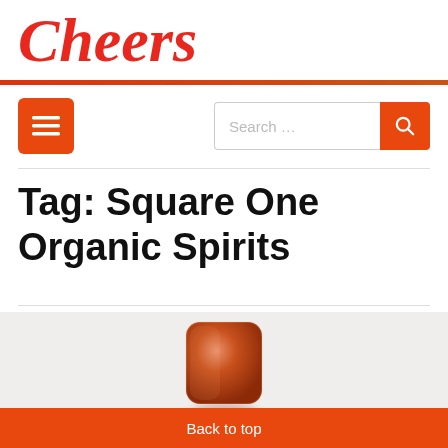Cheers
Tag: Square One Organic Spirits
[Figure (photo): Close-up photo of a reddish-brown bottle cap/cork top against a light grey background]
Back to top